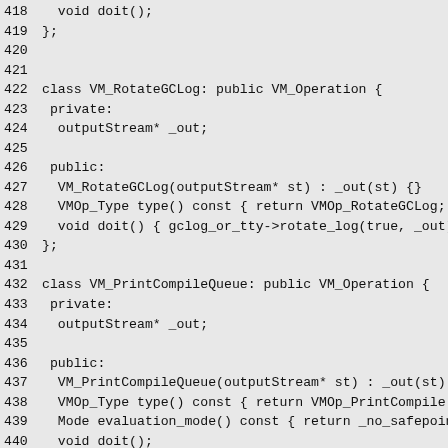Source code listing lines 418-447, C++ class definitions for VM operations including VM_RotateGCLog, VM_PrintCompileQueue, and VM_PrintCodeList